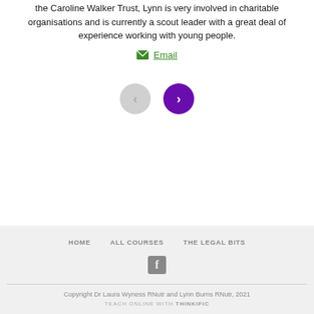the Caroline Walker Trust, Lynn is very involved in charitable organisations and is currently a scout leader with a great deal of experience working with young people.
Email
[Figure (other): Navigation buttons: a grey previous arrow button and a purple next arrow button]
HOME   ALL COURSES   THE LEGAL BITS
Facebook icon
Copyright Dr Laura Wyness RNutr and Lynn Burns RNutr, 2021
TEACH ONLINE WITH THINKIFIC